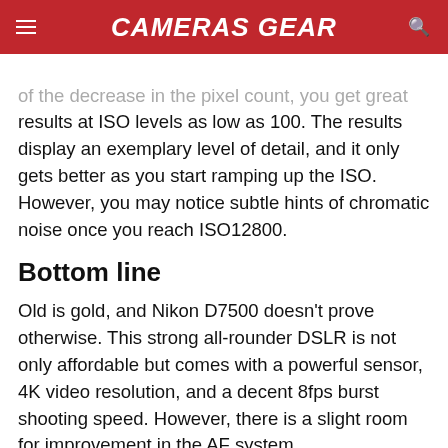CAMERAS GEAR
of the decrease in the pixel count, you get great results at ISO levels as low as 100. The results display an exemplary level of detail, and it only gets better as you start ramping up the ISO. However, you may notice subtle hints of chromatic noise once you reach ISO12800.
Bottom line
Old is gold, and Nikon D7500 doesn't prove otherwise. This strong all-rounder DSLR is not only affordable but comes with a powerful sensor, 4K video resolution, and a decent 8fps burst shooting speed. However, there is a slight room for improvement in the AF system.